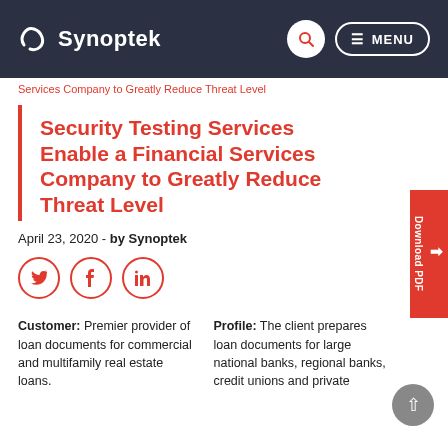Synoptek
Services Company to Greatly Reduce Threat Level
Security Testing Services Enable a Financial Services Company to Greatly Reduce Threat Level
April 23, 2020 - by Synoptek
[Figure (other): Social sharing icons: Twitter, Facebook, LinkedIn]
Customer: Premier provider of loan documents for commercial and multifamily real estate loans.
Profile: The client prepares loan documents for large national banks, regional banks, credit unions and private